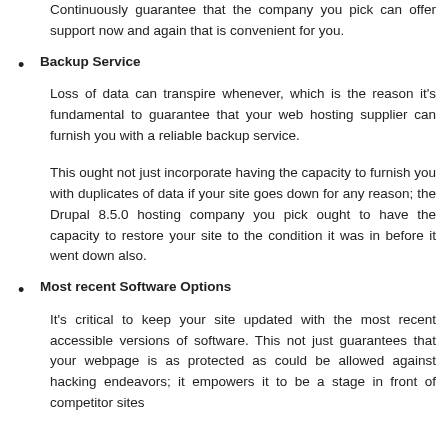Continuously guarantee that the company you pick can offer support now and again that is convenient for you.
Backup Service
Loss of data can transpire whenever, which is the reason it's fundamental to guarantee that your web hosting supplier can furnish you with a reliable backup service.
This ought not just incorporate having the capacity to furnish you with duplicates of data if your site goes down for any reason; the Drupal 8.5.0 hosting company you pick ought to have the capacity to restore your site to the condition it was in before it went down also.
Most recent Software Options
It's critical to keep your site updated with the most recent accessible versions of software. This not just guarantees that your webpage is as protected as could be allowed against hacking endeavors; it empowers it to be a stage in front of competitor sites